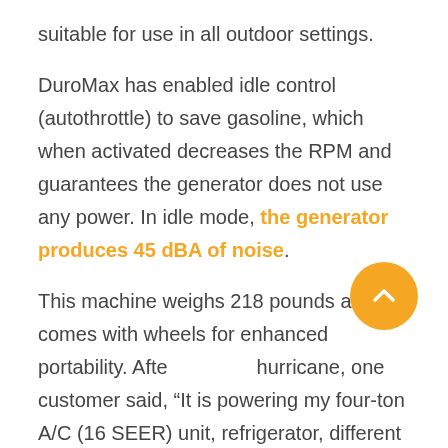suitable for use in all outdoor settings.
DuroMax has enabled idle control (autothrottle) to save gasoline, which when activated decreases the RPM and guarantees the generator does not use any power. In idle mode, the generator produces 45 dBA of noise.
This machine weighs 218 pounds and comes with wheels for enhanced portability. After hurricane, one customer said, “It is powering my four-ton A/C (16 SEER) unit, refrigerator, different computers, [and] any and all lights.”